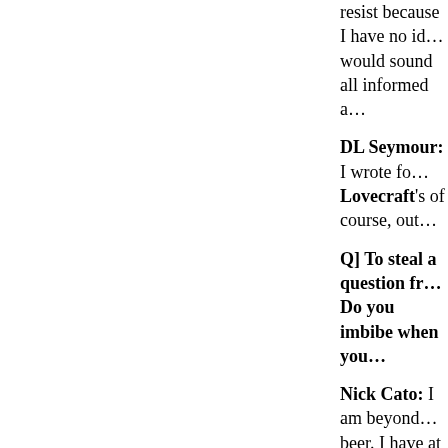resist because I have no id… would sound all informed a…
DL Seymour: I wrote fo… Lovecraft's of course, out…
Q] To steal a question fr… Do you imbibe when you…
Nick Cato: I am beyond… beer. I have at least one a d…
Tim Baker: A beer and a s…
Q] What books have you…
Tom Olbert: I'm current… impressed by Patricia; sh… somewhat of Bradbury. I… Dina has a talent for prese… and suspense, reminiscent…
Adam Millard: I've read… Craig Saunders, Joseph… now and in the future.
DL Seymour: Well, I did… was an inventive take on th…